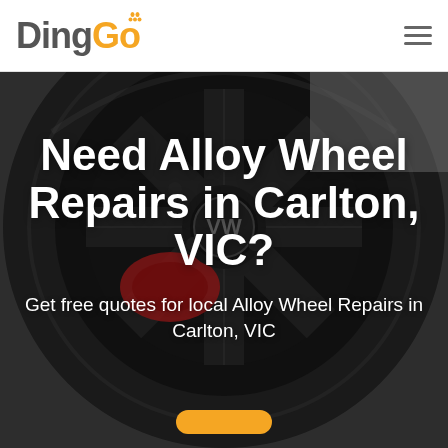DingGo
[Figure (photo): Close-up photograph of a black Volkswagen alloy wheel with red brake caliper visible, tyre surrounding it, dark grey background]
Need Alloy Wheel Repairs in Carlton, VIC?
Get free quotes for local Alloy Wheel Repairs in Carlton, VIC